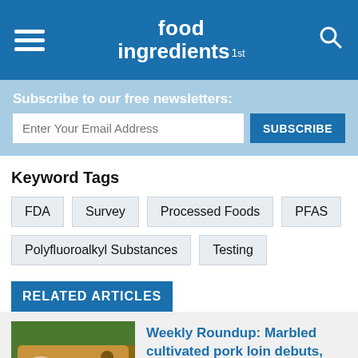food ingredients 1st
Subscribe to our free newsletters:
Enter Your Email Address | SUBSCRIBE
Keyword Tags
FDA
Survey
Processed Foods
PFAS
Polyfluoroalkyl Substances
Testing
RELATED ARTICLES
[Figure (photo): Hands slicing pork loin on a wooden cutting board]
Weekly Roundup: Marbled cultivated pork loin debuts, Ingredion touts tapioca starch